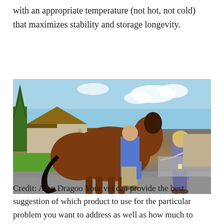with an appropriate temperature (not hot, not cold) that maximizes stability and storage longevity.
[Figure (photo): A veterinarian and an assistant examining a brown horse outdoors in a driveway. A man in a blue shirt and khaki pants stands behind the horse, and a woman in purple scrubs holds the horse's lead rope and smiles. There is a house and trees in the background.]
Credit: Amy Dragoo Your vet can provide the best suggestion of which product to use for the particular problem you want to address as well as how much to